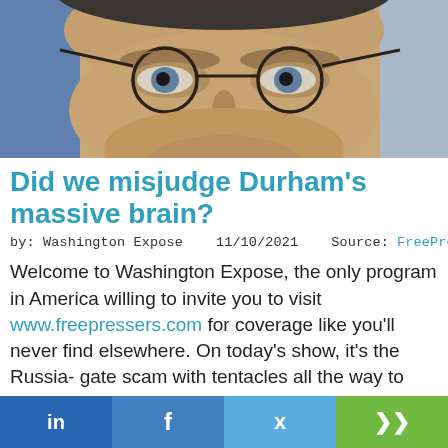[Figure (photo): Close-up photograph of an older man with round wire-rimmed glasses, looking downward. Background shows red and blue colors (possibly flags).]
Did we misjudge Durham's massive brain?
by: Washington Expose    11/10/2021    Source: FreePressers
Welcome to Washington Expose, the only program in America willing to invite you to visit www.freepressers.com for coverage like you'll never find elsewhere. On today's show, it's the Russia- gate scam with tentacles all the way to Hillary Clinton that's becoming so obvious, it's getting pathetic. We second-guess Special [Prosecutor Durham...]